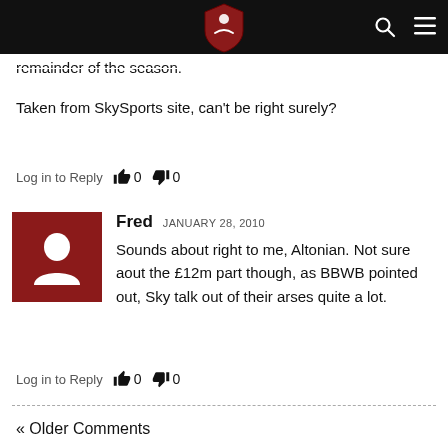remainder of the season.
Taken from SkySports site, can't be right surely?
Log in to Reply  0  0
Fred  JANUARY 28, 2010
Sounds about right to me, Altonian. Not sure aout the £12m part though, as BBWB pointed out, Sky talk out of their arses quite a lot.
Log in to Reply  0  0
« Older Comments